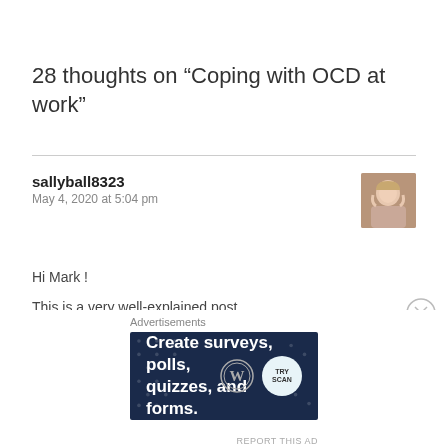28 thoughts on “Coping with OCD at work”
sallyball8323
May 4, 2020 at 5:04 pm
[Figure (photo): Avatar photo of user sallyball8323, a woman with light hair]
Hi Mark !
This is a very well-explained post.
While I was doing my doctorate, I worked part-time as a proofreader for a newspaper.
Advertisements
[Figure (screenshot): Advertisement banner: dark blue background with white bold text 'Create surveys, polls, quizzes, and forms.' with WordPress and TryScan logos on the right]